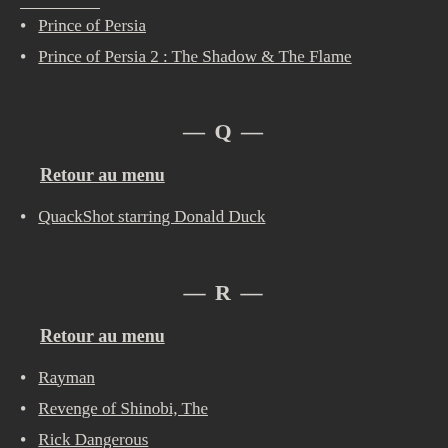Prince of Persia
Prince of Persia 2 : The Shadow & The Flame
— Q —
Retour au menu
QuackShot starring Donald Duck
— R —
Retour au menu
Rayman
Revenge of Shinobi, The
Rick Dangerous
Rocket Knight Adventures